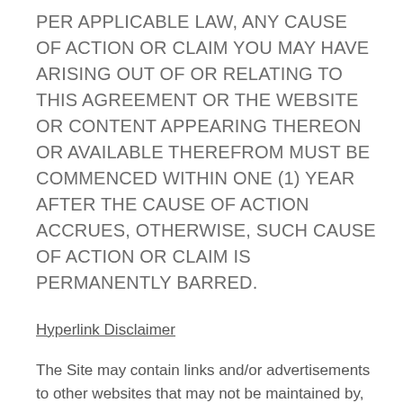PER APPLICABLE LAW, ANY CAUSE OF ACTION OR CLAIM YOU MAY HAVE ARISING OUT OF OR RELATING TO THIS AGREEMENT OR THE WEBSITE OR CONTENT APPEARING THEREON OR AVAILABLE THEREFROM MUST BE COMMENCED WITHIN ONE (1) YEAR AFTER THE CAUSE OF ACTION ACCRUES, OTHERWISE, SUCH CAUSE OF ACTION OR CLAIM IS PERMANENTLY BARRED.
Hyperlink Disclaimer
The Site may contain links and/or advertisements to other websites that may not be maintained by, or related to, Mericle. An advertisement of, or link to, a